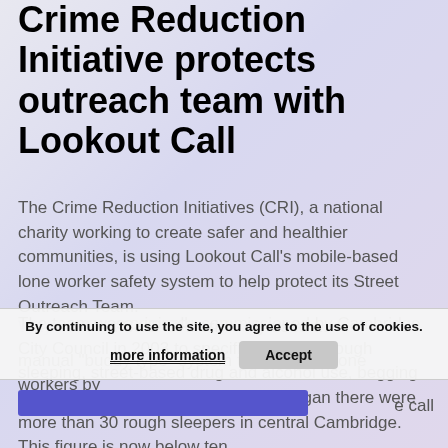Crime Reduction Initiative protects outreach team with Lookout Call
The Crime Reduction Initiatives (CRI), a national charity working to create safer and healthier communities, is using Lookout Call's mobile-based lone worker safety system to help protect its Street Outreach Team.
The team was originally commissioned by Cambridge City Council in 2003 to specifically tackle rough sleeping, street-based drug and alcohol use, begging and sex working. When the project began there were more than 30 rough sleepers in central Cambridge. This figure is now below ten.
Why Lookout Call? CRI originally used a
manual "buddy type" system to protect its lone workers by                                                     e call